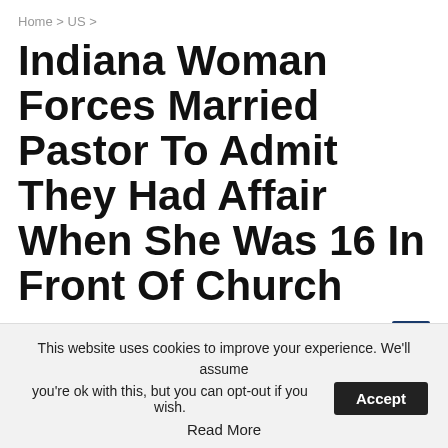Home > US >
Indiana Woman Forces Married Pastor To Admit They Had Affair When She Was 16 In Front Of Church
By Jacky — On May 24, 2022
This website uses cookies to improve your experience. We'll assume you're ok with this, but you can opt-out if you wish. Accept Read More